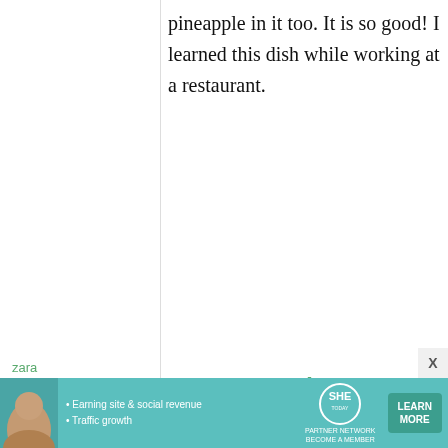pineapple in it too. It is so good! I learned this dish while working at a restaurant.
zara
2 June, 2009 - 04:44
permalink
Re: Book review: The Enlightened Kitchen, shōjin ryōri ...
[Figure (infographic): Advertisement banner for SHE Partner Network: Earning site & social revenue, Traffic growth. Learn More button.]